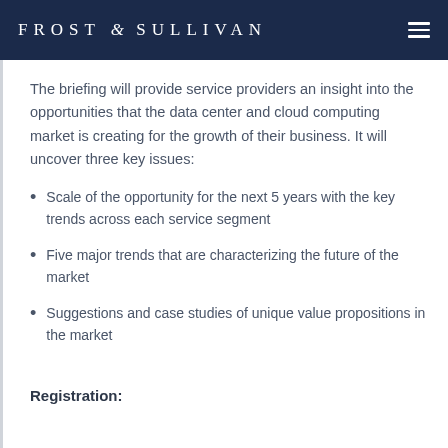FROST & SULLIVAN
The briefing will provide service providers an insight into the opportunities that the data center and cloud computing market is creating for the growth of their business. It will uncover three key issues:
Scale of the opportunity for the next 5 years with the key trends across each service segment
Five major trends that are characterizing the future of the market
Suggestions and case studies of unique value propositions in the market
Registration: